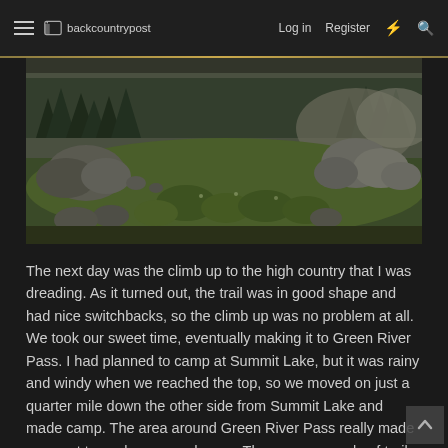≡ backcountrypost  Log in  Register  ⚡ 🔍
[Figure (photo): Outdoor landscape photo showing a rocky mountain meadow with large boulders, green shrubs, wildflowers, and conifer trees in the background under an overcast sky.]
The next day was the climb up to the high country that I was dreading. As it turned out, the trail was in good shape and had nice switchbacks, so the climb up was no problem at all. We took our sweet time, eventually making it to Green River Pass. I had planned to camp at Summit Lake, but it was rainy and windy when we reached the top, so we moved on just a quarter mile down the other side from Summit Lake and made camp. The area around Green River Pass really made me want to explore around more. There are a couple of trail intersections (including a couple of trails that appeared to head down into Pine Creek Canyon that weren't on the map) that just beckoned for further exploration.